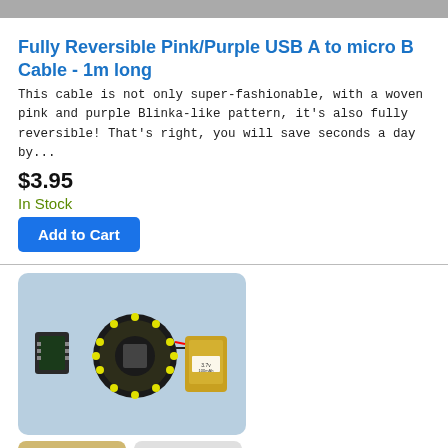[Figure (photo): Top gray navigation/header bar of a website]
Fully Reversible Pink/Purple USB A to micro B Cable - 1m long
This cable is not only super-fashionable, with a woven pink and purple Blinka-like pattern, it's also fully reversible! That's right, you will save seconds a day by...
$3.95
In Stock
Add to Cart
[Figure (photo): Product photo showing electronics components: a small breakout board, a circular LED ring/microcontroller board, and a yellow LiPo battery, arranged on a light blue background]
[Figure (photo): Small product thumbnail showing a gold-colored electronic component]
[Figure (photo): Small product thumbnail showing a black bracket or mounting hardware]